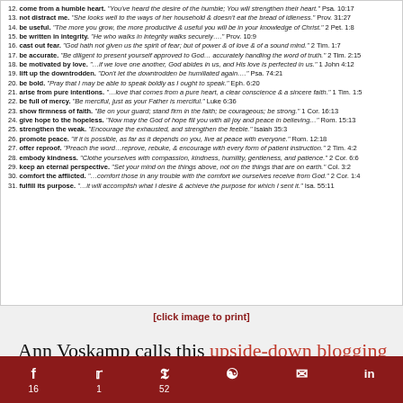12. come from a humble heart. "You've heard the desire of the humble; You will strengthen their heart." Psa. 10:17
13. not distract me. "She looks well to the ways of her household & doesn't eat the bread of idleness." Prov. 31:27
14. be useful. "The more you grow, the more productive & useful you will be in your knowledge of Christ." 2 Pet. 1:8
15. be written in integrity. "He who walks in integrity walks securely…." Prov. 10:9
16. cast out fear. "God hath not given us the spirit of fear; but of power & of love & of a sound mind." 2 Tim. 1:7
17. be accurate. "Be diligent to present yourself approved to God… accurately handling the word of truth." 2 Tim. 2:15
18. be motivated by love. "…if we love one another, God abides in us, and His love is perfected in us." 1 John 4:12
19. lift up the downtrodden. "Don't let the downtrodden be humiliated again…." Psa. 74:21
20. be bold. "Pray that I may be able to speak boldly as I ought to speak." Eph. 6:20
21. arise from pure intentions. "…love that comes from a pure heart, a clear conscience & a sincere faith." 1 Tim. 1:5
22. be full of mercy. "Be merciful, just as your Father is merciful." Luke 6:36
23. show firmness of faith. "Be on your guard; stand firm in the faith; be courageous; be strong." 1 Cor. 16:13
24. give hope to the hopeless. "Now may the God of hope fill you with all joy and peace in believing…" Rom. 15:13
25. strengthen the weak. "Encourage the exhausted, and strengthen the feeble." Isaiah 35:3
26. promote peace. "If it is possible, as far as it depends on you, live at peace with everyone." Rom. 12:18
27. offer reproof. "Preach the word…reprove, rebuke, & encourage with every form of patient instruction." 2 Tim. 4:2
28. embody kindness. "Clothe yourselves with compassion, kindness, humility, gentleness, and patience." 2 Cor. 6:6
29. keep an eternal perspective. "Set your mind on the things above, not on the things that are on earth." Col. 3:2
30. comfort the afflicted. "…comfort those in any trouble with the comfort we ourselves receive from God." 2 Cor. 1:4
31. fulfill its purpose. "…it will accomplish what I desire & achieve the purpose for which I sent it." Isa. 55:11
[click image to print]
Ann Voskamp calls this upside-down blogging and reminds us that "every great victory begins on the
f 16 | Twitter 1 | Pinterest 52 | Reddit | Email | LinkedIn